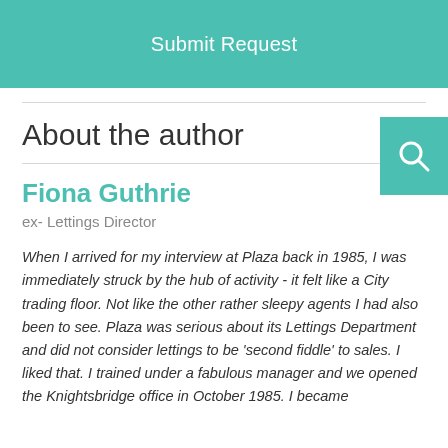[Figure (other): Teal/green button bar with white text 'Submit Request']
About the author
[Figure (other): Teal search icon button in top right corner]
Fiona Guthrie
ex- Lettings Director
When I arrived for my interview at Plaza back in 1985, I was immediately struck by the hub of activity - it felt like a City trading floor. Not like the other rather sleepy agents I had also been to see. Plaza was serious about its Lettings Department and did not consider lettings to be 'second fiddle' to sales. I liked that. I trained under a fabulous manager and we opened the Knightsbridge office in October 1985. I became